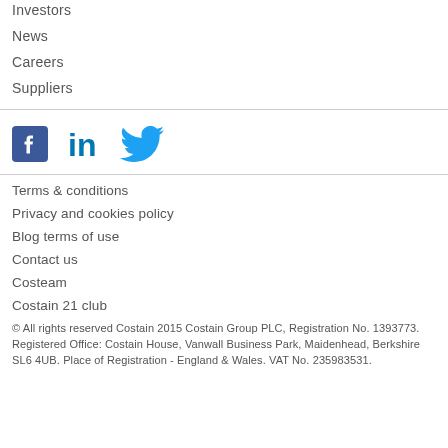Investors
News
Careers
Suppliers
[Figure (illustration): Social media icons: Facebook, LinkedIn, Twitter in blue]
Terms & conditions
Privacy and cookies policy
Blog terms of use
Contact us
Costeam
Costain 21 club
© All rights reserved Costain 2015 Costain Group PLC, Registration No. 1393773. Registered Office: Costain House, Vanwall Business Park, Maidenhead, Berkshire SL6 4UB. Place of Registration - England & Wales. VAT No. 235983531.